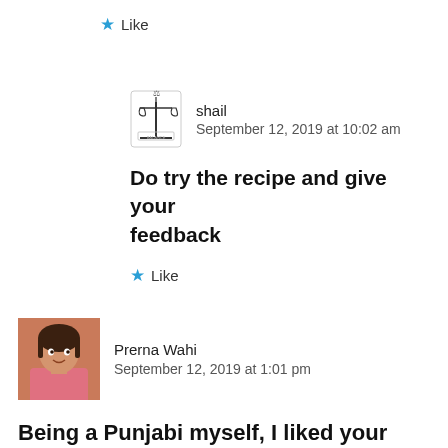★ Like
[Figure (illustration): Shail avatar: scales of justice icon]
shail
September 12, 2019 at 10:02 am
Do try the recipe and give your feedback
★ Like
[Figure (photo): Prerna Wahi avatar: woman in pink top]
Prerna Wahi
September 12, 2019 at 1:01 pm
Being a Punjabi myself, I liked your recipe of chole